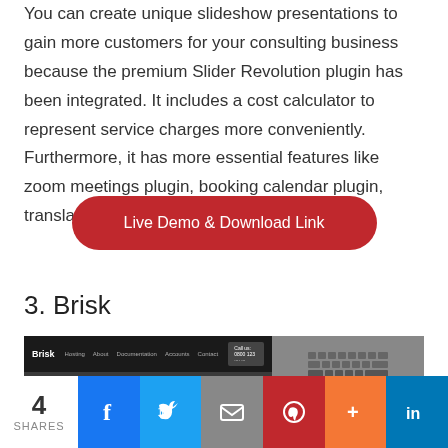You can create unique slideshow presentations to gain more customers for your consulting business because the premium Slider Revolution plugin has been integrated. It includes a cost calculator to represent service charges more conveniently. Furthermore, it has more essential features like zoom meetings plugin, booking calendar plugin, translation ready, and one-click demo importer.
Live Demo & Download Link
3. Brisk
[Figure (screenshot): Screenshot of the Brisk WordPress theme website showing a dark navigation bar with 'Brisk' logo and menu items, and a hero section with a keyboard image on the right side.]
4 SHARES